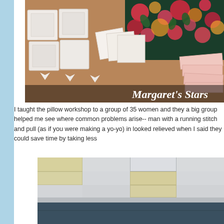[Figure (photo): Photo of quilted star pillow blocks in white and floral fabric on a wooden surface, with text overlay reading Margaret's Stars]
I taught the pillow workshop to a group of 35 women and they a big group helped me see where common problems arise-- man with a running stitch and pull (as if you were making a yo-yo) in looked relieved when I said they could save time by taking less
[Figure (photo): Photo of an interior room with drop ceiling, fluorescent lighting panels, and teal/dark walls]